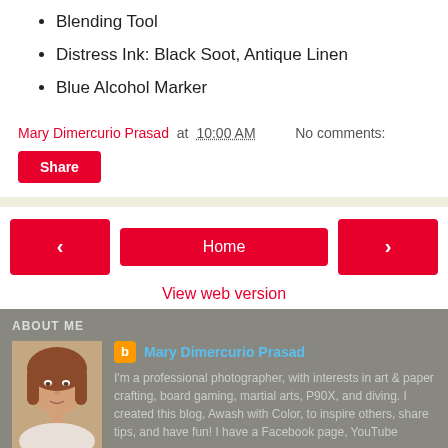Blending Tool
Distress Ink: Black Soot, Antique Linen
Blue Alcohol Marker
Mary Dimercurio Prasad at 10:00 AM    No comments:
Share
Home
View web version
ABOUT ME
[Figure (photo): Portrait photo of Mary Dimercurio Prasad, a woman with reddish-brown hair]
Mary Dimercurio Prasad
I'm a professional photographer, with interests in art & paper crafting, board gaming, martial arts, P90X, and diving. I created this blog, Awash with Color, to inspire others, share tips, and have fun! I have a Facebook page, YouTube